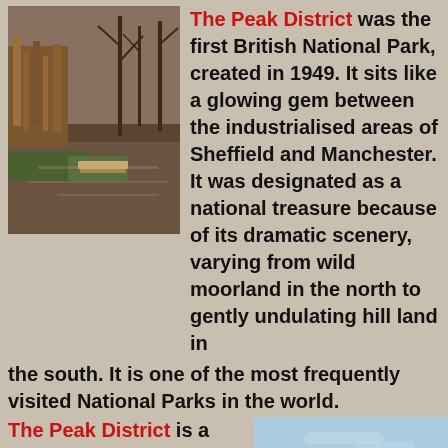[Figure (photo): Landscape photo of a pond or river with reeds and bare trees reflected in water, brownish autumn tones]
The Peak District was the first British National Park, created in 1949. It sits like a glowing gem between the industrialised areas of Sheffield and Manchester. It was designated as a national treasure because of its dramatic scenery, varying from wild moorland in the north to gently undulating hill land in the south. It is one of the most frequently visited National Parks in the world.
[Figure (photo): Winter landscape photo showing a snowy road between dark rock formations under a blue sky]
The Peak District is a haven for walkers and climbers. There are hundreds of miles of easily accessible footpaths and the climbing facilities at Stanage Edge at the east end of the Hope Valley are famous throughout the climbing community. The Peak District has something for everybody. Ladybower, Derwent and Howden dams offer some of the